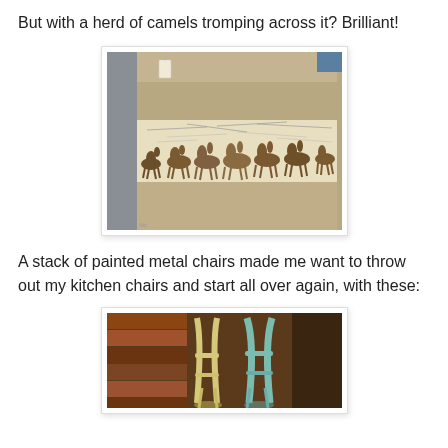But with a herd of camels tromping across it? Brilliant!
[Figure (photo): Photo of upholstered chair/sofa interior with fabric featuring a herd of camels tromping across a map-patterned background, viewed from above.]
A stack of painted metal chairs made me want to throw out my kitchen chairs and start all over again, with these:
[Figure (photo): Close-up photo of stacked painted metal chairs in yellow/cream and teal/blue colors.]